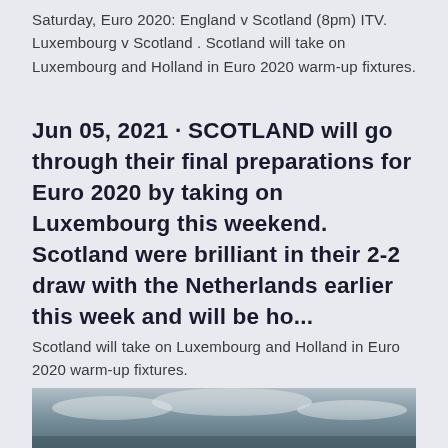Saturday, Euro 2020: England v Scotland (8pm) ITV. Luxembourg v Scotland . Scotland will take on Luxembourg and Holland in Euro 2020 warm-up fixtures.
Jun 05, 2021 · SCOTLAND will go through their final preparations for Euro 2020 by taking on Luxembourg this weekend. Scotland were brilliant in their 2-2 draw with the Netherlands earlier this week and will be ho...
Scotland will take on Luxembourg and Holland in Euro 2020 warm-up fixtures.
[Figure (photo): Partial view of an outdoor landscape photo showing a sky with clouds, cropped at the bottom of the page.]